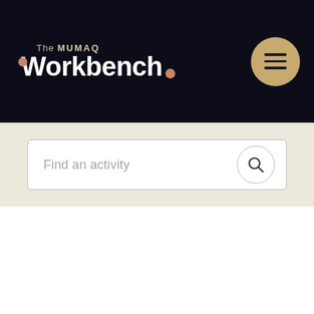[Figure (logo): The MUMAQ Workbench logo on dark navy background with hamburger menu button]
[Figure (screenshot): Search bar with placeholder text 'Find an activity' and a circular search icon button, on a beige background]
Find an activity